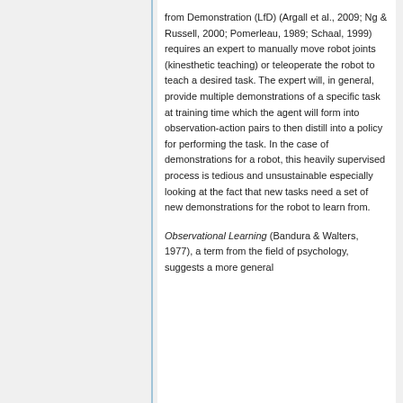from Demonstration (LfD) (Argall et al., 2009; Ng & Russell, 2000; Pomerleau, 1989; Schaal, 1999) requires an expert to manually move robot joints (kinesthetic teaching) or teleoperate the robot to teach a desired task. The expert will, in general, provide multiple demonstrations of a specific task at training time which the agent will form into observation-action pairs to then distill into a policy for performing the task. In the case of demonstrations for a robot, this heavily supervised process is tedious and unsustainable especially looking at the fact that new tasks need a set of new demonstrations for the robot to learn from.
Observational Learning (Bandura & Walters, 1977), a term from the field of psychology, suggests a more general foundational approach...